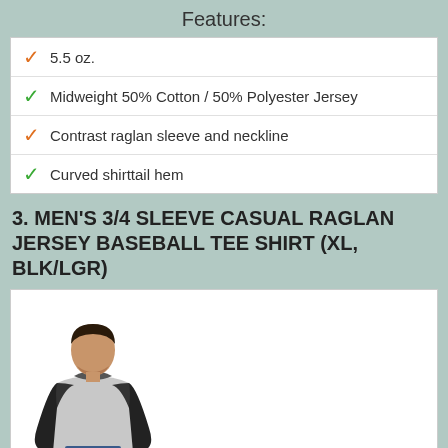Features:
5.5 oz.
Midweight 50% Cotton / 50% Polyester Jersey
Contrast raglan sleeve and neckline
Curved shirttail hem
3. MEN'S 3/4 SLEEVE CASUAL RAGLAN JERSEY BASEBALL TEE SHIRT (XL, BLK/LGR)
[Figure (photo): Man wearing a 3/4 sleeve raglan baseball tee shirt with black sleeves and light gray body]
Shop On Amazon